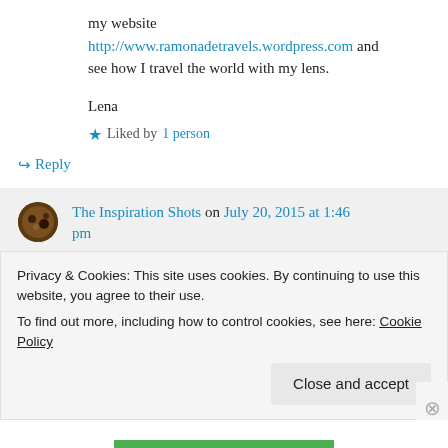my website http://www.ramonadetravels.wordpress.com and see how I travel the world with my lens.
Lena
★ Liked by 1 person
↪ Reply
The Inspiration Shots on July 20, 2015 at 1:46 pm
Privacy & Cookies: This site uses cookies. By continuing to use this website, you agree to their use.
To find out more, including how to control cookies, see here: Cookie Policy
Close and accept